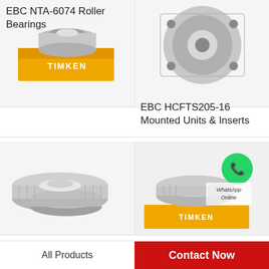[Figure (photo): EBC NTA-6074 Roller Bearings product photo showing a TIMKEN branded yellow box with bearing]
EBC NTA-6074 Roller Bearings
[Figure (photo): EBC HCFTS205-16 Mounted Units & Inserts product photo showing a circular flange bearing unit]
EBC HCFTS205-16 Mounted Units & Inserts
[Figure (photo): EBC 5212 2RSNR Ball Bearings product photo showing a tapered roller bearing assembly]
EBC 5212 2RSNR Ball
[Figure (photo): EBC 307FFA Ball Bearings product photo showing TIMKEN tapered roller bearings in yellow box with WhatsApp Online overlay]
EBC 307FFA Ball Bearings
All Products
Contact Now